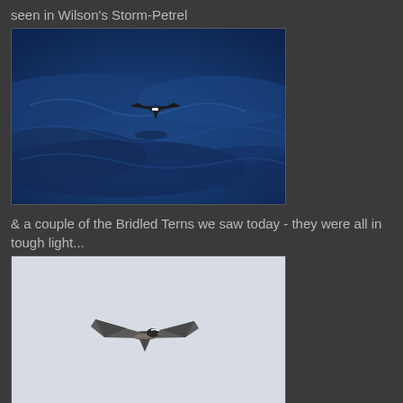seen in Wilson's Storm-Petrel
[Figure (photo): A Wilson's Storm-Petrel bird flying low over dark blue ocean waves. The bird is small and dark with a white rump patch, wings outstretched in flight.]
& a couple of the Bridled Terns we saw today - they were all in tough light...
[Figure (photo): A Bridled Tern bird flying in overcast/white sky light. The bird is seen from below/side, dark wings spread wide against a pale grey-white background.]